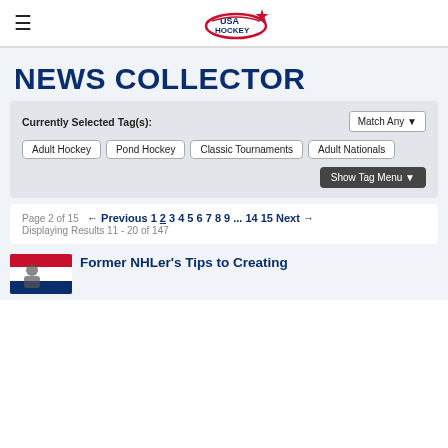USA Hockey
NEWS COLLECTOR
Currently Selected Tag(s): Match Any
Adult Hockey
Pond Hockey
Classic Tournaments
Adult Nationals
Show Tag Menu
Page 2 of 15 ← Previous 1 2 3 4 5 6 7 8 9 ... 14 15 Next →
Displaying Results 11 - 20 of 147
Former NHLer's Tips to Creating